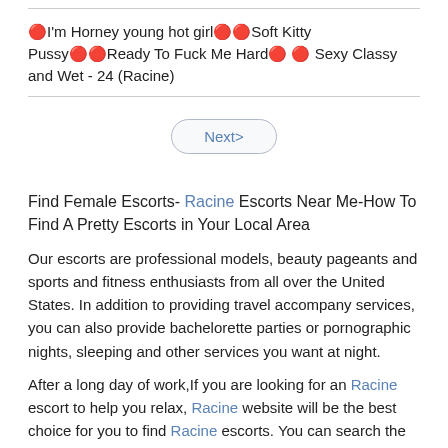🔴I'm Horney young hot girl🔴🔴Soft Kitty Pussy🔴🔴Ready To Fuck Me Hard🔴 🔴 Sexy Classy and Wet - 24 (Racine)
Next>
Find Female Escorts- Racine Escorts Near Me-How To Find A Pretty Escorts in Your Local Area
Our escorts are professional models, beauty pageants and sports and fitness enthusiasts from all over the United States. In addition to providing travel accompany services, you can also provide bachelorette parties or pornographic nights, sleeping and other services you want at night.
After a long day of work,If you are looking for an Racine escort to help you relax, Racine website will be the best choice for you to find Racine escorts. You can search the escort near you by selecting the corresponding city category. No matter which city you are in, you can find Suitable for your escort.